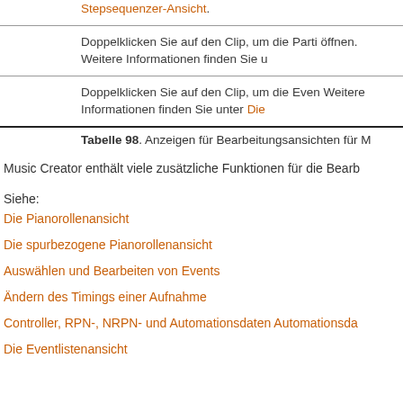Stepsequenzer-Ansicht.
Doppelklicken Sie auf den Clip, um die Parti öffnen. Weitere Informationen finden Sie u
Doppelklicken Sie auf den Clip, um die Even Weitere Informationen finden Sie unter Die
Tabelle 98. Anzeigen für Bearbeitungsansichten für M
Music Creator enthält viele zusätzliche Funktionen für die Bearb
Siehe:
Die Pianorollenansicht
Die spurbezogene Pianorollenansicht
Auswählen und Bearbeiten von Events
Ändern des Timings einer Aufnahme
Controller, RPN-, NRPN- und Automationsdaten Automationsda
Die Eventlistenansicht